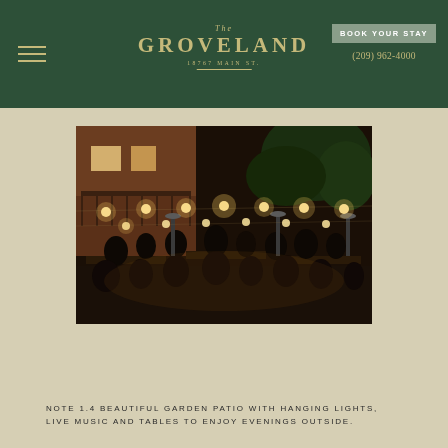The Groveland | BOOK YOUR STAY | (209) 962-4000
[Figure (photo): Outdoor garden patio at night with many guests seated at long tables, string lights hanging overhead, patio heaters, and a building with balcony in the background.]
NOTE 1.4 BEAUTIFUL GARDEN PATIO WITH HANGING LIGHTS, LIVE MUSIC AND TABLES TO ENJOY EVENINGS OUTSIDE.